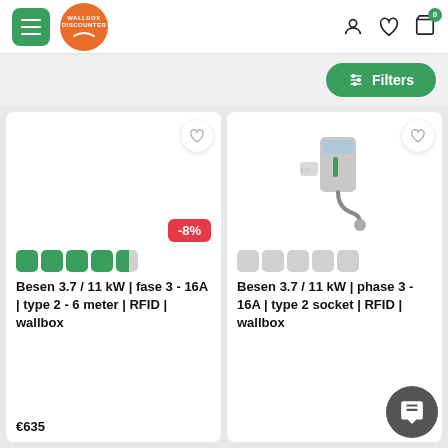[Figure (screenshot): Wallbox Discounter e-commerce website header with hamburger menu button, orange circular logo with 'Wallbox Discounter' text, and header icons for account, wishlist, and cart (showing 0 items)]
[Figure (screenshot): Green Filters button with slider icon on a light grey background]
[Figure (photo): Product card for Besen 3.7/11 kW fase 3 - 16A type 2 - 6 meter RFID wallbox with -8% discount badge, 4.5 star rating, and price starting at €635]
[Figure (photo): Product card for Besen 3.7/11 kW phase 3 - 16A type 2 socket RFID wallbox with no rating stars, showing product image of a grey wall charging unit with RFID reader]